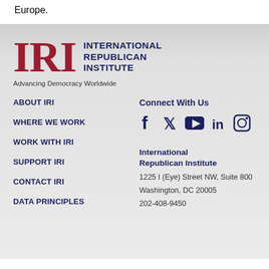Europe.
[Figure (logo): IRI - International Republican Institute logo with red serif IRI letters and dark blue text, tagline: Advancing Democracy Worldwide]
ABOUT IRI
WHERE WE WORK
WORK WITH IRI
SUPPORT IRI
CONTACT IRI
DATA PRINCIPLES
Connect With Us
[Figure (infographic): Social media icons: Facebook, Twitter, YouTube, LinkedIn, Instagram]
International Republican Institute
1225 I (Eye) Street NW, Suite 800
Washington, DC 20005
202-408-9450